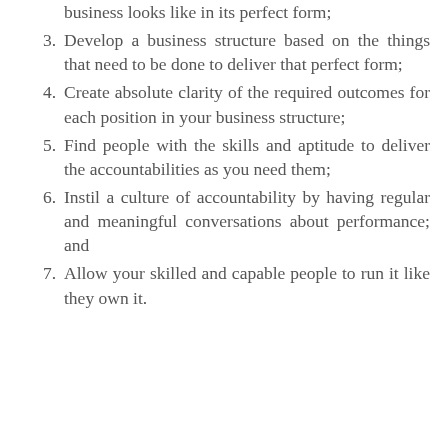business looks like in its perfect form;
3. Develop a business structure based on the things that need to be done to deliver that perfect form;
4. Create absolute clarity of the required outcomes for each position in your business structure;
5. Find people with the skills and aptitude to deliver the accountabilities as you need them;
6. Instil a culture of accountability by having regular and meaningful conversations about performance; and
7. Allow your skilled and capable people to run it like they own it.